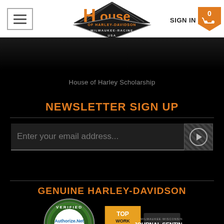[Figure (logo): House of Harley-Davidson Milwaukee-Racine USA logo with orange house shape and dark diamond badge]
SIGN IN
House of Harley Scholarship
NEWSLETTER SIGN UP
Enter your email address...
GENUINE HARLEY-DAVIDSON
[Figure (logo): Authorize.Net Verified Merchant seal badge]
[Figure (logo): Top Work Places 2017 Journal Sentinel Milwaukee-Wisconsin badge]
FOLLOW US